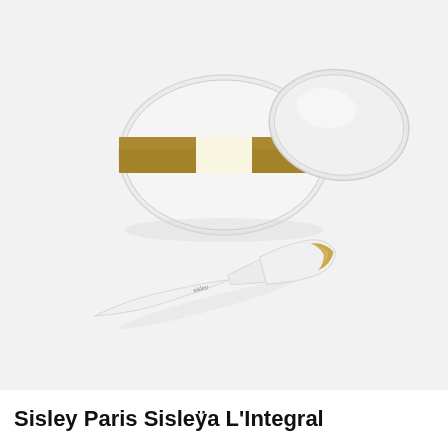[Figure (photo): Product photo of Sisley Paris Sisleÿa L'Intégral Anti-Âge cream jar (white frosted glass with gold band accent) with lid placed beside it, and a white spatula applicator with gold tip, set against a light grey background.]
Sisley Paris Sisleÿa L'Integral